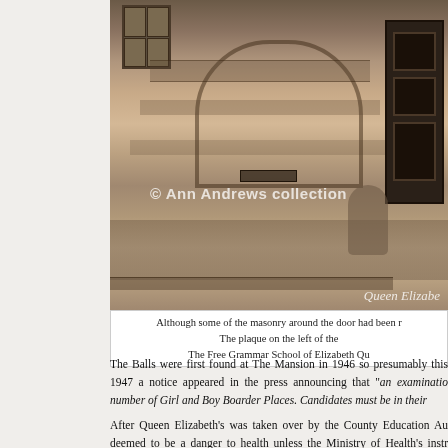[Figure (photo): Sepia-toned historical photograph of Queen Elizabeth's Grammar School building exterior, showing stone masonry, arched doorway, windows, and a dark door. The image is watermarked '© Ann Andrews collection' and captioned 'Queen Elizabe' in the lower right corner.]
Although some of the masonry around the door had been r[enovated]. The plaque on the left of the [door reads]. The Free Grammar School of Elizabeth Qu[een...]
The Balls were first found at The Mansion in 1946 so presumably this [was the period]. 1947 a notice appeared in the press announcing that "an examinatio[n would be held for] number of Girl and Boy Boarder Places. Candidates must be in their [...]
After Queen Elizabeth's was taken over by the County Education Au[thority it was] deemed to be a danger to health unless the Ministry of Health's instr[uctions were met] probably the first difficulty Mr. Kimmins had to face following his appo[intment.]
Another was the renovation of the Old School, which was Grade I lis[ted, requiring] expenditure of £18,500 on renovation. The work was to include the r[enovation of the] schoolboys and most of the cost was borne by Derbyshire Count[y Council...]